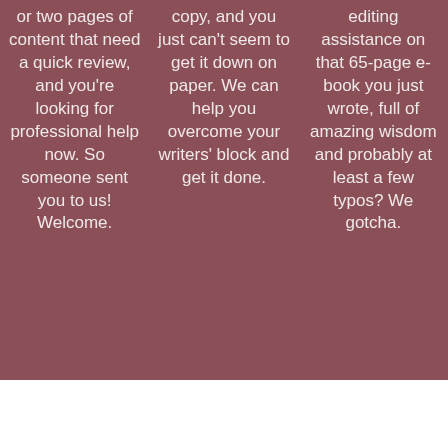or two pages of content that need a quick review, and you're looking for professional help now. So someone sent you to us! Welcome.
copy, and you just can't seem to get it down on paper. We can help you overcome your writers' block and get it done.
editing assistance on that 65-page e-book you just wrote, full of amazing wisdom and probably at least a few typos? We gotcha.